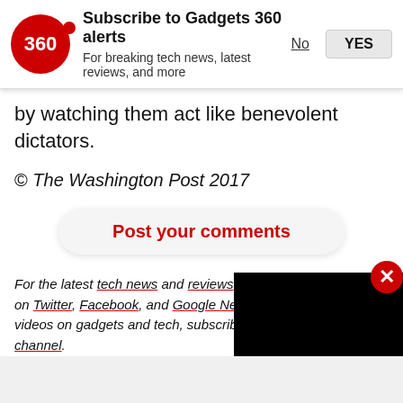[Figure (logo): Gadgets 360 red circular logo with '360' text]
Subscribe to Gadgets 360 alerts
For breaking tech news, latest reviews, and more
No    YES
by watching them act like benevolent dictators.
© The Washington Post 2017
Post your comments
For the latest tech news and reviews, on Twitter, Facebook, and Google News, for videos on gadgets and tech, subscribe to our YouTube channel.
[Figure (screenshot): Black video player block overlapping text on right side]